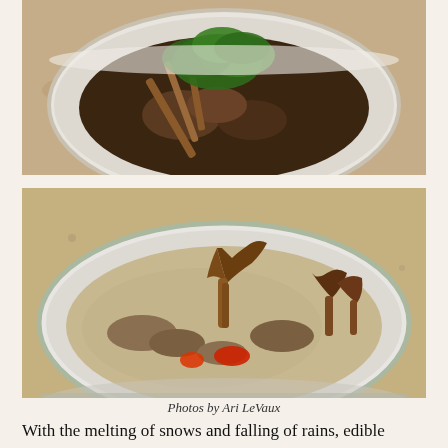[Figure (photo): Top photo: A white ceramic bowl containing dark mushroom soup with whole mushrooms and stems, garnished with fresh flat-leaf parsley and cinnamon sticks, placed on a granite countertop.]
[Figure (photo): Bottom photo: A white ceramic bowl containing creamy mushroom soup with mixed mushrooms including chanterelles, pieces of red bell pepper, in a tan-colored broth, placed on a granite countertop.]
Photos by Ari LeVaux
With the melting of snows and falling of rains, edible